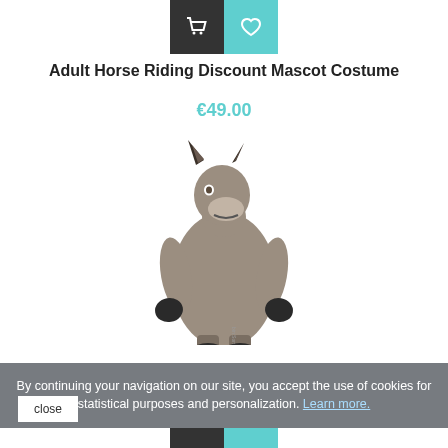[Figure (other): Shopping cart and heart/wishlist icon buttons at top center]
Adult Horse Riding Discount Mascot Costume
€49.00
[Figure (photo): Photo of a person wearing a full donkey mascot costume — grey full-body suit with a large donkey head, dark ears, and black gloves/hooves]
By continuing your navigation on our site, you accept the use of cookies for statistical purposes and personalization. Learn more.
close